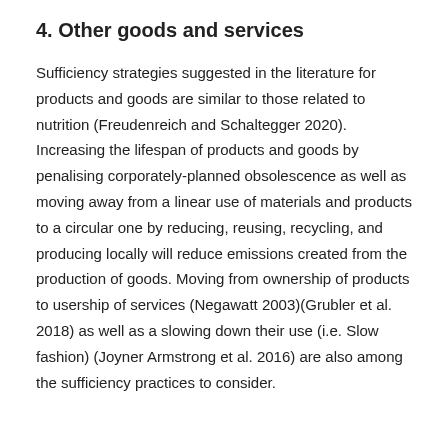4. Other goods and services
Sufficiency strategies suggested in the literature for products and goods are similar to those related to nutrition (Freudenreich and Schaltegger 2020). Increasing the lifespan of products and goods by penalising corporately-planned obsolescence as well as moving away from a linear use of materials and products to a circular one by reducing, reusing, recycling, and producing locally will reduce emissions created from the production of goods. Moving from ownership of products to usership of services (Negawatt 2003)(Grubler et al. 2018) as well as a slowing down their use (i.e. Slow fashion) (Joyner Armstrong et al. 2016) are also among the sufficiency practices to consider.